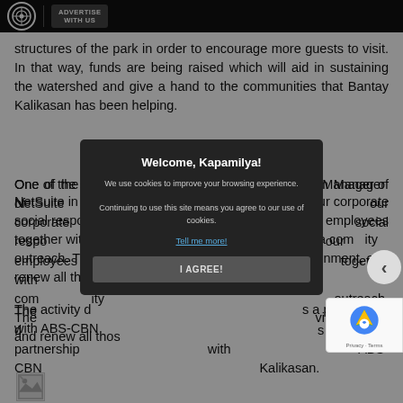ADVERTISE WITH US
structures of the park in order to encourage more guests to visit. In that way, funds are being raised which will aid in sustaining the watershed and give a hand to the communities that Bantay Kalikasan has been helping.
One of the employees, Rhoda Navarro, the Program Manager of NetSuite in C[...] our corporate social respo[...] our employees together with[...] a com[...]ity outreach. The[...] vironment, and renew all thos[...]
[Figure (screenshot): Cookie consent modal dialog with dark background. Title: 'Welcome, Kapamilya!'. Body: 'We use cookies to improve your browsing experience. Continuing to use this site means you agree to our use of cookies.' Link: 'Tell me more!'. Button: 'I AGREE!']
The activity d[...] s a partnership with ABS-CBN[...] Kalikasan.
[Figure (photo): Broken image thumbnail at the bottom left of the page.]